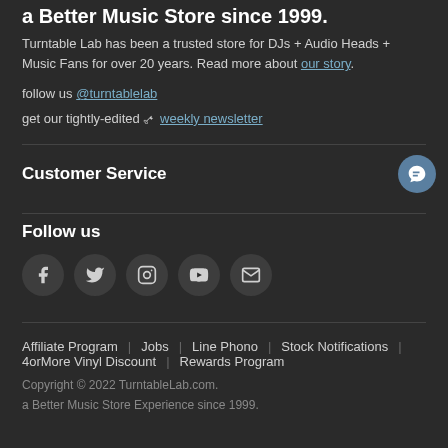a Better Music Store since 1999.
Turntable Lab has been a trusted store for DJs + Audio Heads + Music Fans for over 20 years. Read more about our story.
follow us @turntablelab
get our tightly-edited 🗝 weekly newsletter
Customer Service
Follow us
[Figure (infographic): Social media icons: Facebook, Twitter, Instagram, YouTube, Email]
Affiliate Program | Jobs | Line Phono | Stock Notifications | 4orMore Vinyl Discount | Rewards Program
Copyright © 2022 TurntableLab.com.
a Better Music Store Experience since 1999.